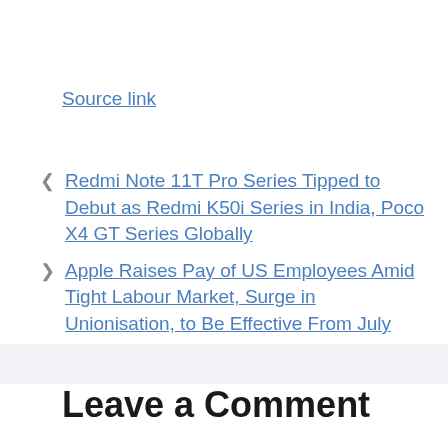Source link
Redmi Note 11T Pro Series Tipped to Debut as Redmi K50i Series in India, Poco X4 GT Series Globally
Apple Raises Pay of US Employees Amid Tight Labour Market, Surge in Unionisation, to Be Effective From July
Leave a Comment